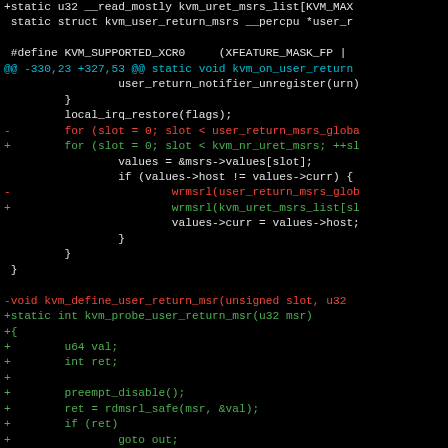[Figure (screenshot): Git diff of Linux KVM kernel code showing removal and addition of MSR-related functions. Dark background terminal view with syntax highlighting: cyan for diff headers, red for removed lines, green for added lines, white/gray for context lines.]